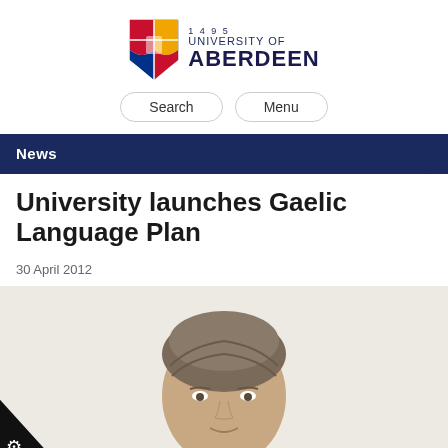[Figure (logo): University of Aberdeen crest logo with shield and text '1495 UNIVERSITY OF ABERDEEN']
News
University launches Gaelic Language Plan
30 April 2012
[Figure (photo): Portrait photo of a middle-aged man with grey-brown hair against a light background]